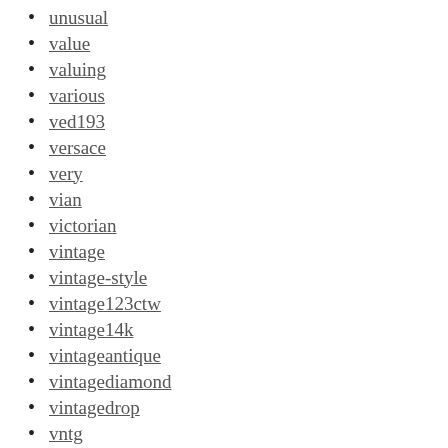unusual
value
valuing
various
ved193
versace
very
vian
victorian
vintage
vintage-style
vintage123ctw
vintage14k
vintageantique
vintagediamond
vintagedrop
vntg